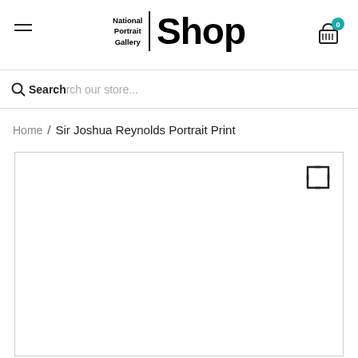National Portrait Gallery | Shop
Search our store...
Home / Sir Joshua Reynolds Portrait Print
[Figure (screenshot): White product image area with expand/fullscreen icon in top-right corner]